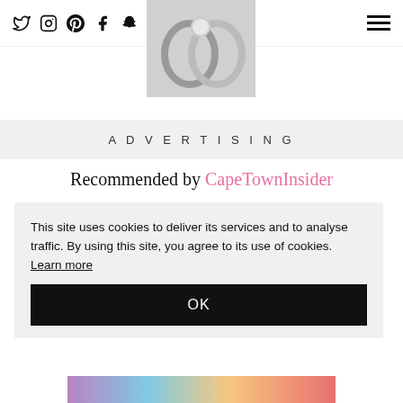Social icons: Twitter, Instagram, Pinterest, Facebook, Snapchat, Tumblr, Search | Hamburger menu
[Figure (photo): Close-up black and white photo of interlocking rings (jewelry/wedding rings)]
ADVERTISING
Recommended by CapeTownInsider
This site uses cookies to deliver its services and to analyse traffic. By using this site, you agree to its use of cookies. Learn more
OK
[Figure (photo): Colorful image strip at the bottom of the page, partially visible]